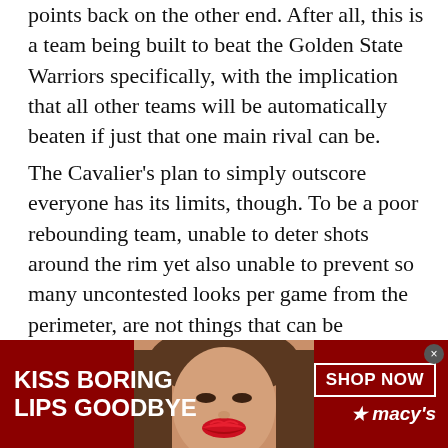points back on the other end. After all, this is a team being built to beat the Golden State Warriors specifically, with the implication that all other teams will be automatically beaten if just that one main rival can be.
The Cavalier's plan to simply outscore everyone has its limits, though. To be a poor rebounding team, unable to deter shots around the rim yet also unable to prevent so many uncontested looks per game from the perimeter, are not things that can be overlooked. It's not what the way the Warriors play, either – by far and away the league leaders in blocked shots, while also sporting by some distance the league's best field goal
[Figure (photo): Advertisement banner for Macy's featuring a woman with red lipstick. Red background with text 'KISS BORING LIPS GOODBYE' on the left, a close-up photo of a woman's face in the center, and a 'SHOP NOW' button with the Macy's star logo on the right.]